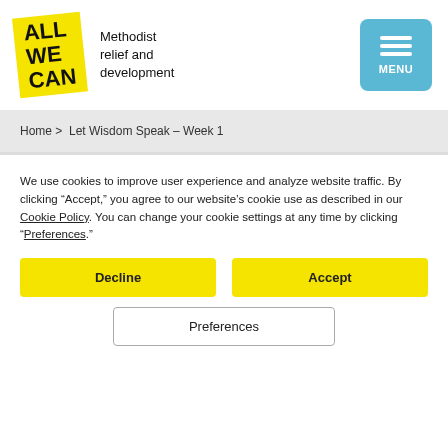[Figure (logo): All We Can logo — yellow rotated square with bold black text ALL WE CAN, next to text 'Methodist relief and development']
Home > Let Wisdom Speak – Week 1
We use cookies to improve user experience and analyze website traffic. By clicking "Accept," you agree to our website's cookie use as described in our Cookie Policy. You can change your cookie settings at any time by clicking "Preferences."
Decline
Accept
Preferences